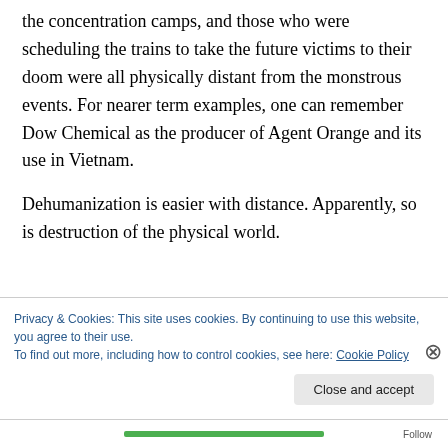the concentration camps, and those who were scheduling the trains to take the future victims to their doom were all physically distant from the monstrous events. For nearer term examples, one can remember Dow Chemical as the producer of Agent Orange and its use in Vietnam.
Dehumanization is easier with distance. Apparently, so is destruction of the physical world.
Privacy & Cookies: This site uses cookies. By continuing to use this website, you agree to their use.
To find out more, including how to control cookies, see here: Cookie Policy